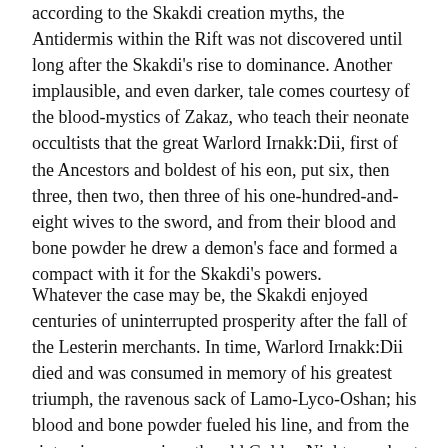according to the Skakdi creation myths, the Antidermis within the Rift was not discovered until long after the Skakdi's rise to dominance. Another implausible, and even darker, tale comes courtesy of the blood-mystics of Zakaz, who teach their neonate occultists that the great Warlord Irnakk:Dii, first of the Ancestors and boldest of his eon, put six, then three, then two, then three of his one-hundred-and-eight wives to the sword, and from their blood and bone powder he drew a demon's face and formed a compact with it for the Skakdi's powers.
Whatever the case may be, the Skakdi enjoyed centuries of uninterrupted prosperity after the fall of the Lesterin merchants. In time, Warlord Irnakk:Dii died and was consumed in memory of his greatest triumph, the ravenous sack of Lamo-Lyco-Oshan; his blood and bone powder fueled his line, and from the sixty-six young wives the old Golden Nightmare kept at the end of his life, forty of them gave him sons in the nine months after his death, and of those forty, thirteen became Ancestors in their own right after their deaths. The Lesterin